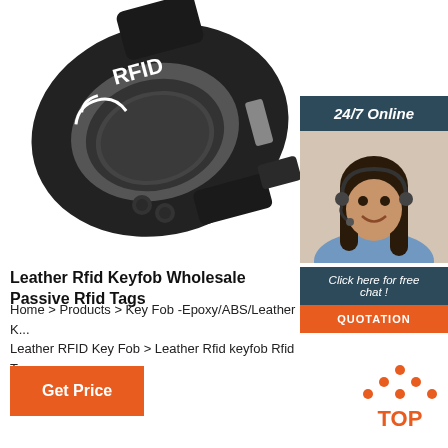[Figure (photo): RFID wristband/keyfob product photo on white background, black silicone wristband with RFID text and signal icon]
[Figure (photo): 24/7 Online customer service sidebar with smiling woman wearing headset, dark teal background header, Click here for free chat text, and orange QUOTATION button]
Leather Rfid Keyfob Wholesale Passive Rfid Tags
Home > Products > Key Fob -Epoxy/ABS/Leather Key Fob/Leather RFID Key Fob > Leather Rfid keyfob Rfid Tags KeyFob
Get Price
[Figure (logo): TOP navigation icon with orange dots arranged in triangle and orange TOP text]